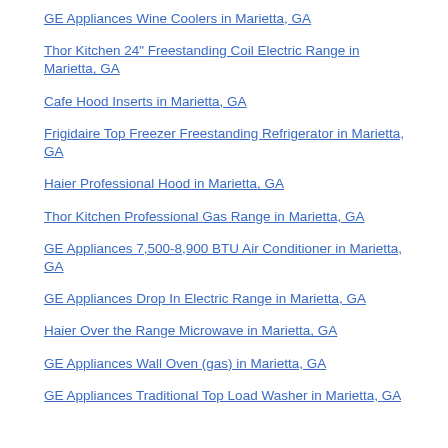GE Appliances Wine Coolers in Marietta, GA
Thor Kitchen 24" Freestanding Coil Electric Range in Marietta, GA
Cafe Hood Inserts in Marietta, GA
Frigidaire Top Freezer Freestanding Refrigerator in Marietta, GA
Haier Professional Hood in Marietta, GA
Thor Kitchen Professional Gas Range in Marietta, GA
GE Appliances 7,500-8,900 BTU Air Conditioner in Marietta, GA
GE Appliances Drop In Electric Range in Marietta, GA
Haier Over the Range Microwave in Marietta, GA
GE Appliances Wall Oven (gas) in Marietta, GA
GE Appliances Traditional Top Load Washer in Marietta, GA